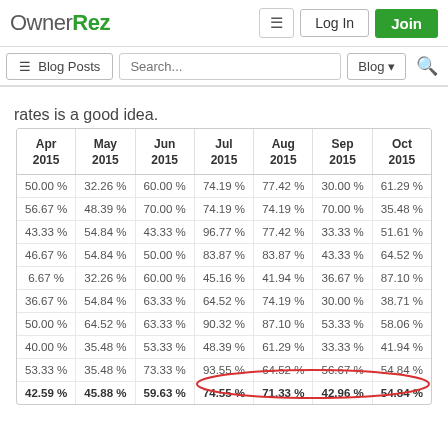OwnerRez — navigation bar with Log In and Join buttons, Blog Posts search bar
rates is a good idea.
| Apr
2015 | May
2015 | Jun
2015 | Jul
2015 | Aug
2015 | Sep
2015 | Oct
2015 |
| --- | --- | --- | --- | --- | --- | --- |
| 50.00 % | 32.26 % | 60.00 % | 74.19 % | 77.42 % | 30.00 % | 61.29 % |
| 56.67 % | 48.39 % | 70.00 % | 74.19 % | 74.19 % | 70.00 % | 35.48 % |
| 43.33 % | 54.84 % | 43.33 % | 96.77 % | 77.42 % | 33.33 % | 51.61 % |
| 46.67 % | 54.84 % | 50.00 % | 83.87 % | 83.87 % | 43.33 % | 64.52 % |
| 6.67 % | 32.26 % | 60.00 % | 45.16 % | 41.94 % | 36.67 % | 87.10 % |
| 36.67 % | 54.84 % | 63.33 % | 64.52 % | 74.19 % | 30.00 % | 38.71 % |
| 50.00 % | 64.52 % | 63.33 % | 90.32 % | 87.10 % | 53.33 % | 58.06 % |
| 40.00 % | 35.48 % | 53.33 % | 48.39 % | 61.29 % | 33.33 % | 41.94 % |
| 53.33 % | 35.48 % | 73.33 % | 93.55 % | 64.52 % | 56.67 % | 54.84 % |
| 42.59 % | 45.88 % | 59.63 % | 74.55 % | 71.33 % | 42.96 % | 54.84 % |